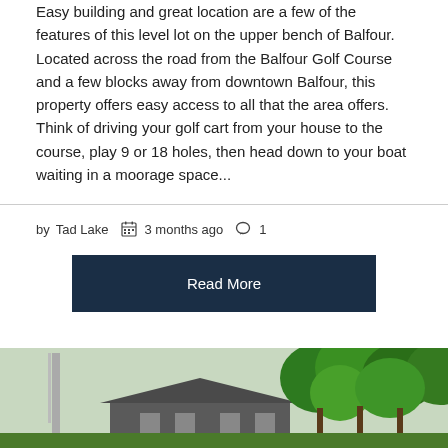Easy building and great location are a few of the features of this level lot on the upper bench of Balfour. Located across the road from the Balfour Golf Course and a few blocks away from downtown Balfour, this property offers easy access to all that the area offers. Think of driving your golf cart from your house to the course, play 9 or 18 holes, then head down to your boat waiting in a moorage space...
by Tad Lake   3 months ago   1
Read More
[Figure (photo): Partial photo of a house or building with green trees visible, showing rooftop and lush foliage]